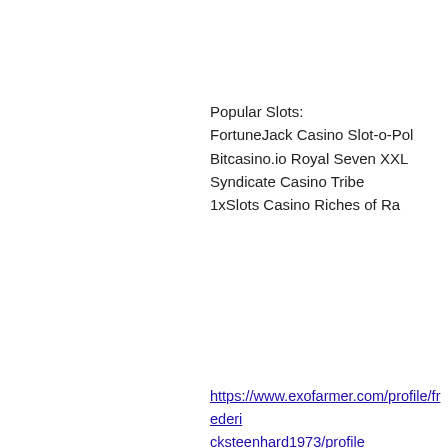Popular Slots:
FortuneJack Casino Slot-o-Pol
Bitcasino.io Royal Seven XXL
Syndicate Casino Tribe
1xSlots Casino Riches of Ra
https://www.exofarmer.com/profile/fredericksteenhard1973/profile
https://www.life9x.com/profile/cheriseweldy1978/profile
http://www.aflder.org/community/profile/casinobtc31648608/
https://www.nicoleprinton.com/profile/felipexyong1977/profile
Subscribe Form
Email Address